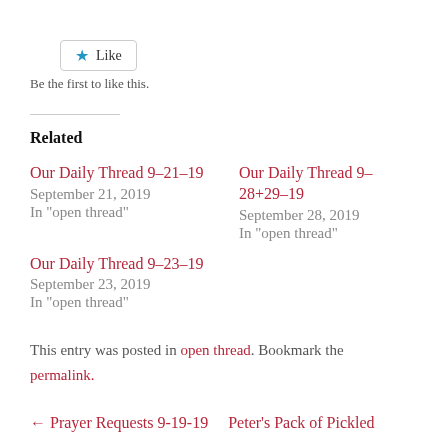[Figure (other): Like button with blue star icon and 'Like' text, bordered box]
Be the first to like this.
Related
Our Daily Thread 9–21–19
September 21, 2019
In "open thread"
Our Daily Thread 9–28+29–19
September 28, 2019
In "open thread"
Our Daily Thread 9–23–19
September 23, 2019
In "open thread"
This entry was posted in open thread. Bookmark the permalink.
← Prayer Requests 9-19-19    Peter's Pack of Pickled